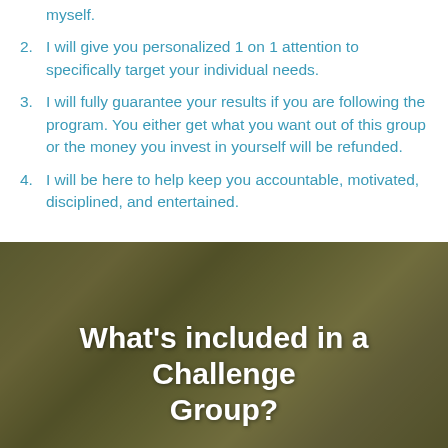myself.
2. I will give you personalized 1 on 1 attention to specifically target your individual needs.
3. I will fully guarantee your results if you are following the program. You either get what you want out of this group or the money you invest in yourself will be refunded.
4. I will be here to help keep you accountable, motivated, disciplined, and entertained.
[Figure (photo): Dark-toned background image of a person working on a bicycle in what appears to be a gym or workshop setting, with an olive/dark overlay.]
What's included in a Challenge Group?